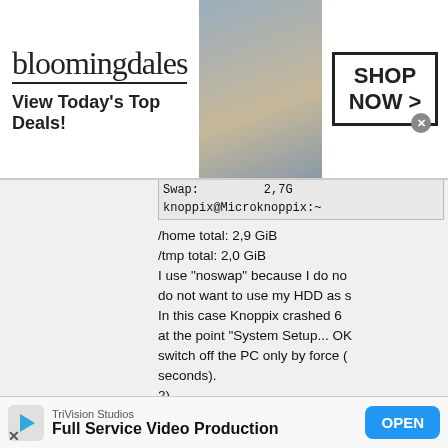[Figure (screenshot): Bloomingdales advertisement banner with logo, 'View Today's Top Deals!' tagline, fashion model photo, and 'SHOP NOW >' button]
Swap:         2,7G
knoppix@Microknoppix:~
/home total: 2,9 GiB
/tmp total: 2,0 GiB
I use "noswap" because I do not want to use my HDD as swap. In this case Knoppix crashed 6 times at the point "System Setup... OK", switch off the PC only by force (power button 4 seconds).
2)
Code:
menuentry "KNOPPIX_V7..."
    set ISO=boot-isos/...
    loopback loop /$IS...
    linux (loop)/boot/...
    initrd (loop)/...
[Figure (screenshot): TriVision Studios 'Full Service Video Production' advertisement banner with play button icon, company name, description, and blue OPEN button]